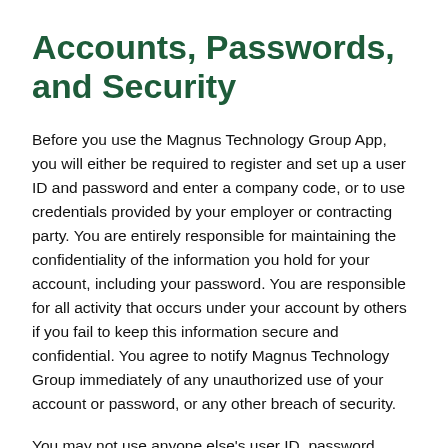Accounts, Passwords, and Security
Before you use the Magnus Technology Group App, you will either be required to register and set up a user ID and password and enter a company code, or to use credentials provided by your employer or contracting party. You are entirely responsible for maintaining the confidentiality of the information you hold for your account, including your password. You are responsible for all activity that occurs under your account by others if you fail to keep this information secure and confidential. You agree to notify Magnus Technology Group immediately of any unauthorized use of your account or password, or any other breach of security.
You may not use anyone else's user ID, password, company code or account at any time without the express